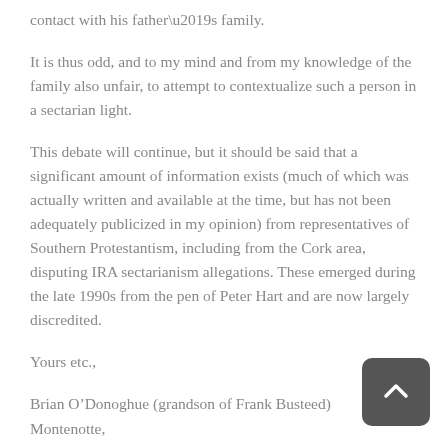contact with his father’s family.
It is thus odd, and to my mind and from my knowledge of the family also unfair, to attempt to contextualize such a person in a sectarian light.
This debate will continue, but it should be said that a significant amount of information exists (much of which was actually written and available at the time, but has not been adequately publicized in my opinion) from representatives of Southern Protestantism, including from the Cork area, disputing IRA sectarianism allegations. These emerged during the late 1990s from the pen of Peter Hart and are now largely discredited.
Yours etc.,
Brian O’Donoghue (grandson of Frank Busteed)
Montenotte,
Cork.